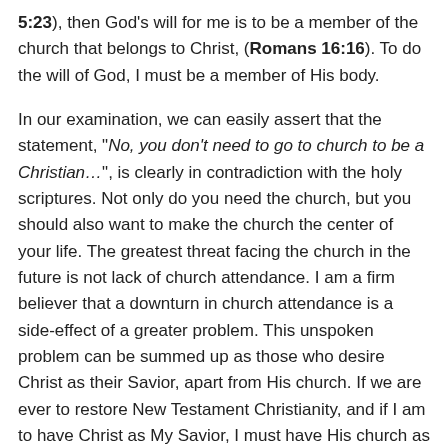5:23), then God's will for me is to be a member of the church that belongs to Christ, (Romans 16:16). To do the will of God, I must be a member of His body.
In our examination, we can easily assert that the statement, "No, you don't need to go to church to be a Christian…", is clearly in contradiction with the holy scriptures. Not only do you need the church, but you should also want to make the church the center of your life. The greatest threat facing the church in the future is not lack of church attendance. I am a firm believer that a downturn in church attendance is a side-effect of a greater problem. This unspoken problem can be summed up as those who desire Christ as their Savior, apart from His church. If we are ever to restore New Testament Christianity, and if I am to have Christ as My Savior, I must have His church as the center of my life, (Matthew 6:33).
Leave a Comment